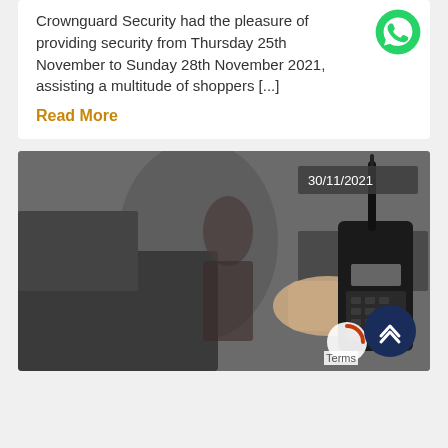Crownguard Security had the pleasure of providing security from Thursday 25th November to Sunday 28th November 2021, assisting a multitude of shoppers [...]
Read More
[Figure (photo): A hand holding a black walkie-talkie/radio device in the foreground, with a blurred woman and dark vehicle in the background. A date badge reads 30/11/2021 in the top right corner.]